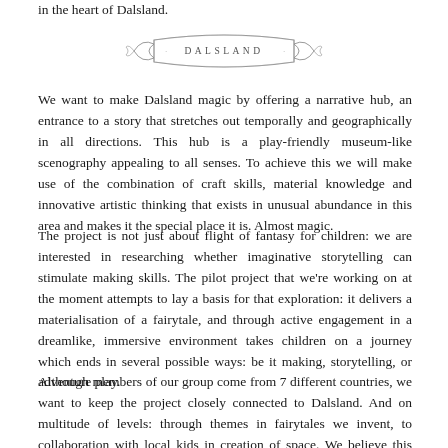in the heart of Dalsland.
[Figure (illustration): A decorative ribbon/banner illustration with the text 'DALSLAND' written across it in capital letters, hand-drawn style with scrolled ends.]
We want to make Dalsland magic by offering a narrative hub, an entrance to a story that stretches out temporally and geographically in all directions. This hub is a play-friendly museum-like scenography appealing to all senses. To achieve this we will make use of the combination of craft skills, material knowledge and innovative artistic thinking that exists in unusual abundance in this area and makes it the special place it is. Almost magic.
The project is not just about flight of fantasy for children: we are interested in researching whether imaginative storytelling can stimulate making skills. The pilot project that we're working on at the moment attempts to lay a basis for that exploration: it delivers a materialisation of a fairytale, and through active engagement in a dreamlike, immersive environment takes children on a journey which ends in several possible ways: be it making, storytelling, or adventure play.
Although members of our group come from 7 different countries, we want to keep the project closely connected to Dalsland. And on multitude of levels: through themes in fairytales we invent, to collaboration with local kids in creation of space. We believe this idea can grow into something that will nurture both the academic side